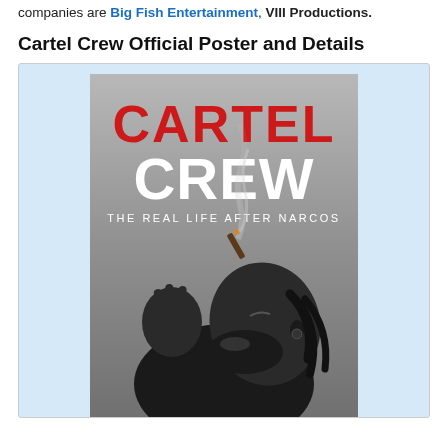companies are Big Fish Entertainment, VIII Productions.
Cartel Crew Official Poster and Details
[Figure (photo): Official poster for the TV show 'Cartel Crew: The Real Life After Narcos' showing a Black man with dreadlocks tilting his head back and blowing smoke from a large cigar/blunt, against a gray background. The title 'CARTEL CREW' appears in large red and white distressed block letters at the top, with subtitle 'THE REAL LIFE AFTER NARCOS' below in white. The image is black and white except for the red title text. Displayed inside a light blue bordered frame.]